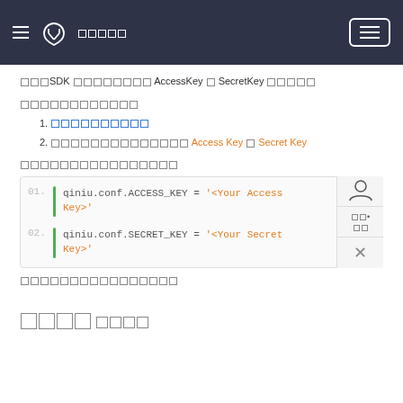≡ [logo] □□□□□  ≡
□□□SDK □□□□□□□□□ AccessKey □ SecretKey □□□□□
□□□□□□□□□□□□
1. □□□□□□□□□□
2. □□□□□□□□□□□□□□ Access Key □ Secret Key
□□□□□□□□□□□□□□□□
01. qiniu.conf.ACCESS_KEY = '<Your Access Key>'
02. qiniu.conf.SECRET_KEY = '<Your Secret Key>'
□□□□□□□□□□□□□□□□
□□□□
□□□□